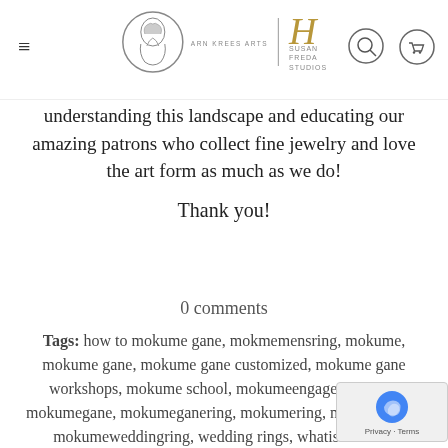ARN KREES ARTS | SUSAN FREDA STUDIOS
understanding this landscape and educating our amazing patrons who collect fine jewelry and love the art form as much as we do!
Thank you!
0 comments
Tags: how to mokume gane, mokmemensring, mokume, mokume gane, mokume gane customized, mokume gane workshops, mokume school, mokumeengagementring, mokumegane, mokumeganering, mokumering, mokumerings, mokumeweddingring, wedding rings, whatismokume
READ MORE